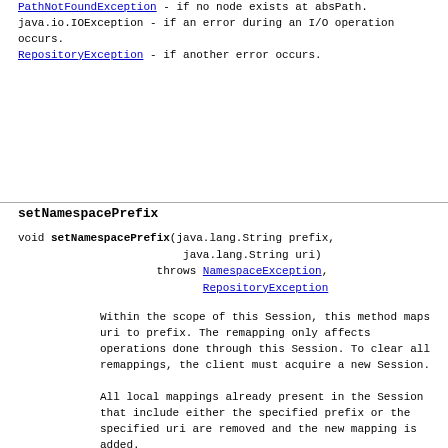PathNotFoundException - if no node exists at absPath.
java.io.IOException - if an error during an I/O operation occurs.
RepositoryException - if another error occurs.
setNamespacePrefix
void setNamespacePrefix(java.lang.String prefix,
                        java.lang.String uri)
                throws NamespaceException,
                       RepositoryException
Within the scope of this Session, this method maps uri to prefix. The remapping only affects operations done through this Session. To clear all remappings, the client must acquire a new Session.
All local mappings already present in the Session that include either the specified prefix or the specified uri are removed and the new mapping is added.
Parameters:
    prefix - a string
    uri - a string
Throws:
    NamespaceException - if an attempt is made to